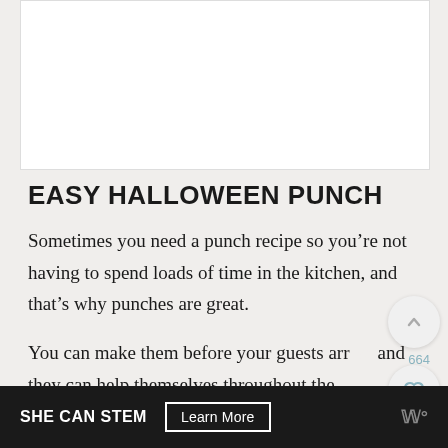[Figure (photo): White image/photo placeholder area at top of recipe article page]
EASY HALLOWEEN PUNCH
Sometimes you need a punch recipe so you’re not having to spend loads of time in the kitchen, and that’s why punches are great.
You can make them before your guests arrive and they can help themselves throughout the night.
SHE CAN STEM  Learn More